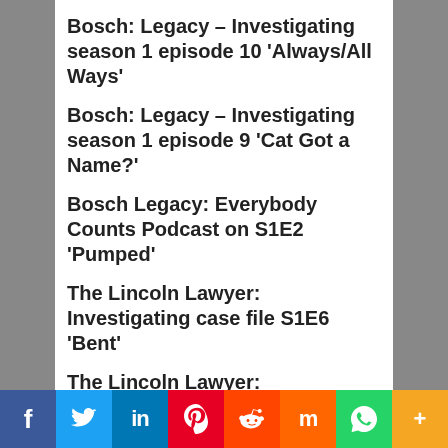Bosch: Legacy – Investigating season 1 episode 10 'Always/All Ways'
Bosch: Legacy – Investigating season 1 episode 9 'Cat Got a Name?'
Bosch Legacy: Everybody Counts Podcast on S1E2 'Pumped'
The Lincoln Lawyer: Investigating case file S1E6 'Bent'
The Lincoln Lawyer: Investigating case file S1E5 'Twelve Lemmings in a Box'